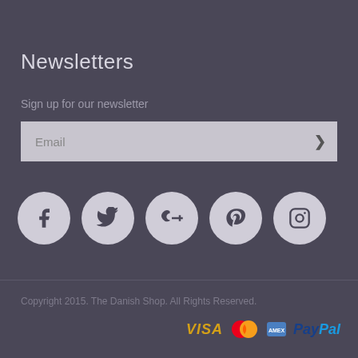Newsletters
Sign up for our newsletter
Email
[Figure (infographic): Social media icons row: Facebook, Twitter, Google+, Pinterest, Instagram — circular grey buttons on dark background]
Copyright 2015. The Danish Shop. All Rights Reserved.
[Figure (logo): Payment icons: VISA, Mastercard, American Express, PayPal]